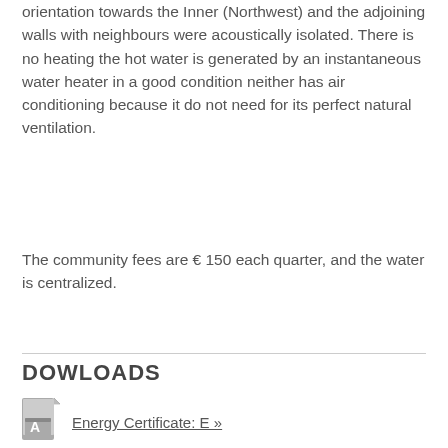orientation towards the Inner (Northwest) and the adjoining walls with neighbours were acoustically isolated. There is no heating the hot water is generated by an instantaneous water heater in a good condition neither has air conditioning because it do not need for its perfect natural ventilation.
The community fees are € 150 each quarter, and the water is centralized.
DOWLOADS
[Figure (other): PDF file icon (grey with Acrobat symbol)]
Energy Certificate: E »
LAST PRICE 210.000 €